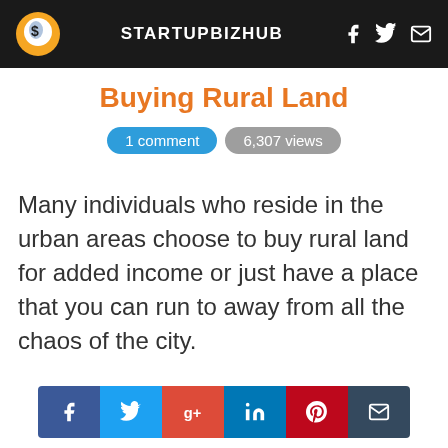STARTUPBIZHUB
Buying Rural Land
1 comment   6,307 views
Many individuals who reside in the urban areas choose to buy rural land for added income or just have a place that you can run to away from all the chaos of the city.
[Figure (infographic): Social share buttons: Facebook, Twitter, Google+, LinkedIn, Pinterest, Email]